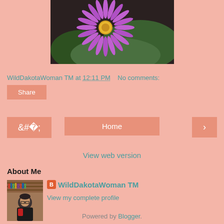[Figure (photo): Purple aster wildflower close-up photo against dark background with green foliage]
WildDakotaWoman TM at 12:11 PM    No comments:
Share
Home
View web version
About Me
[Figure (photo): Profile photo of a woman sitting in a chair, bookshelves visible in background]
WildDakotaWoman TM
View my complete profile
Powered by Blogger.